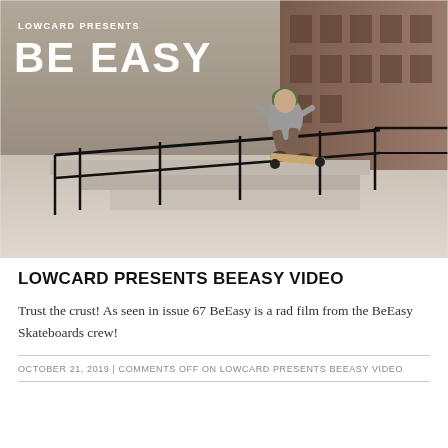[Figure (photo): A skateboarder grinding a metal handrail on concrete steps in an urban setting. The skater wears a grey shirt, brown pants, and a green cap. The background shows a brick building and a paved plaza area. Overlaid text reads 'LOWCARD PRESENTS' and 'BE EASY' in bold white type.]
LOWCARD PRESENTS BEEASY VIDEO
Trust the crust! As seen in issue 67 BeEasy is a rad film from the BeEasy Skateboards crew!
OCTOBER 21, 2019 | COMMENTS OFF ON LOWCARD PRESENTS BEEASY VIDEO